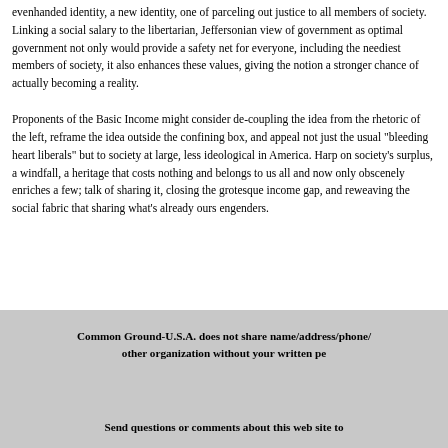evenhanded identity, a new identity, one of parceling out justice to all members of society. Linking a social salary to the libertarian, Jeffersonian view of government as optimal government not only would provide a safety net for everyone, including the neediest members of society, it also enhances these values, giving the notion a stronger chance of actually becoming a reality.
Proponents of the Basic Income might consider de-coupling the idea from the rhetoric of the left, reframe the idea outside the confining box, and appeal not just to the usual "bleeding heart liberals" but to society at large, less ideological in America. Harp on society's surplus, a windfall, a heritage that costs nothing and belongs to us all and now only obscenely enriches a few; talk of sharing it, closing the grotesque income gap, and reweaving the social fabric that sharing what's already ours engenders.
Common Ground-U.S.A. does not share name/address/phone/email with any other organization without your written permission.
Send questions or comments about this web site to